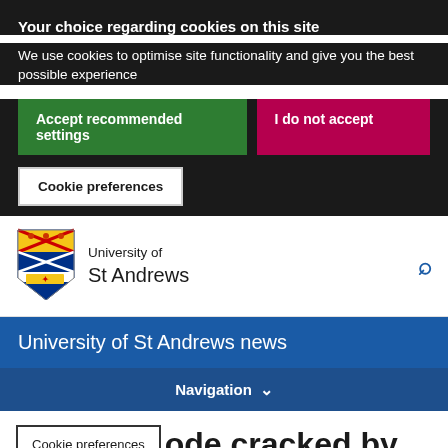Your choice regarding cookies on this site
We use cookies to optimise site functionality and give you the best possible experience
Accept recommended settings
I do not accept
Cookie preferences
[Figure (logo): University of St Andrews crest/shield logo]
University of St Andrews
University of St Andrews news
Navigation
Cookie preferences
ode cracked by